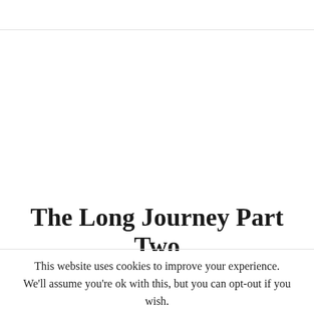The Long Journey Part Two
This website uses cookies to improve your experience. We'll assume you're ok with this, but you can opt-out if you wish.
Accept  Read More